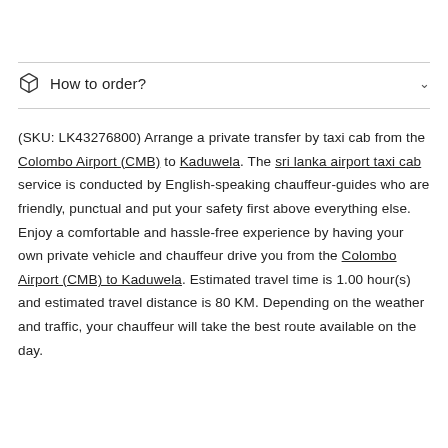How to order?
(SKU: LK43276800) Arrange a private transfer by taxi cab from the Colombo Airport (CMB) to Kaduwela. The sri lanka airport taxi cab service is conducted by English-speaking chauffeur-guides who are friendly, punctual and put your safety first above everything else. Enjoy a comfortable and hassle-free experience by having your own private vehicle and chauffeur drive you from the Colombo Airport (CMB) to Kaduwela. Estimated travel time is 1.00 hour(s) and estimated travel distance is 80 KM. Depending on the weather and traffic, your chauffeur will take the best route available on the day.